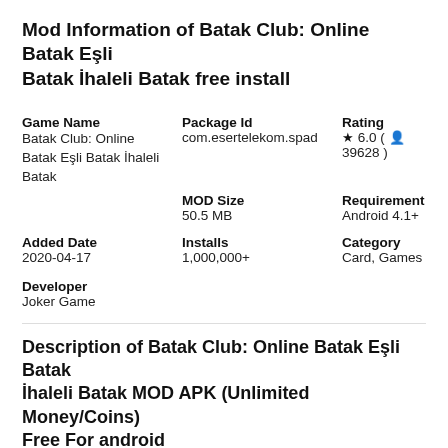Mod Information of Batak Club: Online Batak Eşli Batak İhaleli Batak free install
| Game Name | Package Id | Rating |
| --- | --- | --- |
| Batak Club: Online Batak Eşli Batak İhaleli Batak | com.esertelekom.spad | ★ 6.0 ( 👤 39628 ) |
| MOD Size | Requirement |  |
| 50.5 MB | Android 4.1+ |  |
| Added Date | Installs | Category |
| 2020-04-17 | 1,000,000+ | Card, Games |
Developer
Joker Game
Description of Batak Club: Online Batak Eşli Batak İhaleli Batak MOD APK (Unlimited Money/Coins) Free For android
Latest version of Batak Club: Online Batak Eşli Batak İhaleli Batak is